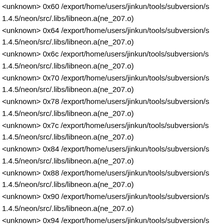<unknown> 0x60 /export/home/users/jinkun/tools/subversion/s 1.4.5/neon/src/.libs/libneon.a(ne_207.o)
<unknown> 0x64 /export/home/users/jinkun/tools/subversion/s 1.4.5/neon/src/.libs/libneon.a(ne_207.o)
<unknown> 0x6c /export/home/users/jinkun/tools/subversion/s 1.4.5/neon/src/.libs/libneon.a(ne_207.o)
<unknown> 0x70 /export/home/users/jinkun/tools/subversion/s 1.4.5/neon/src/.libs/libneon.a(ne_207.o)
<unknown> 0x78 /export/home/users/jinkun/tools/subversion/s 1.4.5/neon/src/.libs/libneon.a(ne_207.o)
<unknown> 0x7c /export/home/users/jinkun/tools/subversion/s 1.4.5/neon/src/.libs/libneon.a(ne_207.o)
<unknown> 0x84 /export/home/users/jinkun/tools/subversion/s 1.4.5/neon/src/.libs/libneon.a(ne_207.o)
<unknown> 0x88 /export/home/users/jinkun/tools/subversion/s 1.4.5/neon/src/.libs/libneon.a(ne_207.o)
<unknown> 0x90 /export/home/users/jinkun/tools/subversion/s 1.4.5/neon/src/.libs/libneon.a(ne_207.o)
<unknown> 0x94 /export/home/users/jinkun/tools/subversion/s 1.4.5/neon/src/.libs/libneon.a(ne_207.o)
<unknown> 0x9c /export/home/users/jinkun/tools/subversion/s 1.4.5/neon/src/.libs/libneon.a(ne_207.o)
<unknown> 0xa0 /export/home/users/jinkun/tools/subversion/s 1.4.5/neon/src/.libs/libneon.a(ne_207.o)
<unknown> 0xa8 /export/home/users/jinkun/tools/subversion/s 1.4.5/neon/src/.libs/libneon.a(ne_207.o)